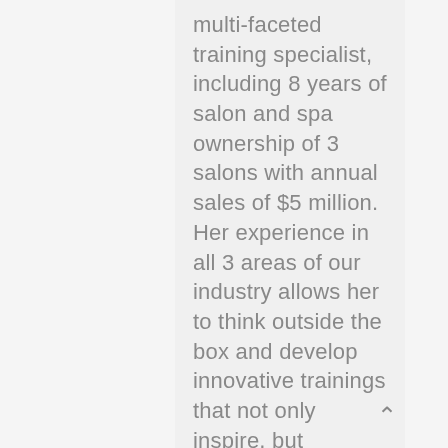multi-faceted training specialist, including 8 years of salon and spa ownership of 3 salons with annual sales of $5 million. Her experience in all 3 areas of our industry allows her to think outside the box and develop innovative trainings that not only inspire, but empower educators/trainers to create the most effective learning environments for their